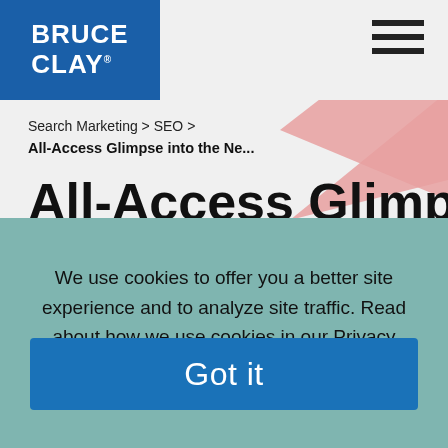[Figure (logo): Bruce Clay logo — white text on blue background]
Search Marketing > SEO >
All-Access Glimpse into the Ne...
All-Access Glimpse
We use cookies to offer you a better site experience and to analyze site traffic. Read about how we use cookies in our Privacy Policy. If you continue to use this site, you consent to our use of cookies.
Got it